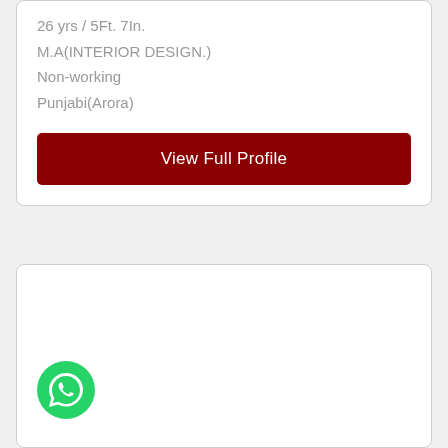26 yrs / 5Ft. 7In.
M.A(INTERIOR DESIGN.)
Non-working
Punjabi(Arora)
View Full Profile
[Figure (logo): WhatsApp icon button - green circle with white chat bubble and phone icon]